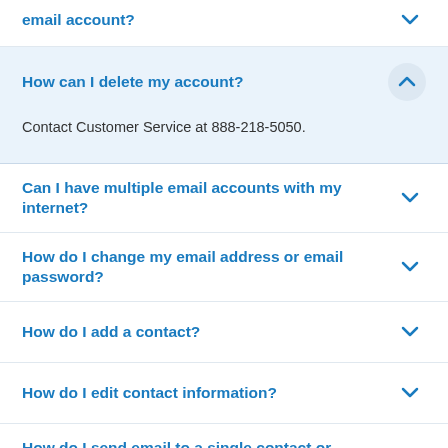email account?
How can I delete my account?
Contact Customer Service at 888-218-5050.
Can I have multiple email accounts with my internet?
How do I change my email address or email password?
How do I add a contact?
How do I edit contact information?
How do I send email to a single contact or multiple contacts?